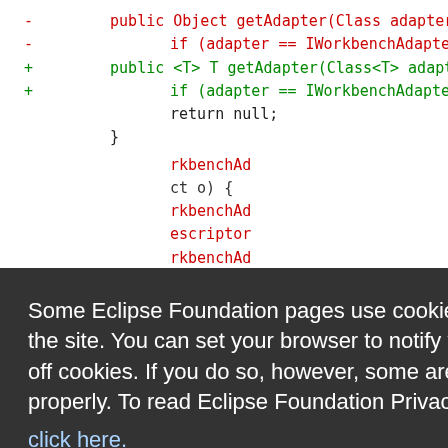[Figure (screenshot): Code diff showing Java method signatures with removed lines (red) and added lines (green), partially obscured by a cookie consent overlay]
Some Eclipse Foundation pages use cookies to better serve you when you return to the site. You can set your browser to notify you before you receive a cookie or turn off cookies. If you do so, however, some areas of some sites may not function properly. To read Eclipse Foundation Privacy Policy click here.
Decline
Allow cookies